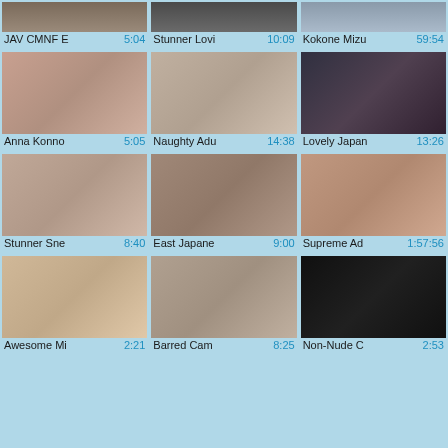[Figure (screenshot): Video thumbnail grid showing 12 video entries with titles and durations]
JAV CMNF E 5:04 | Stunner Lovi 10:09 | Kokone Mizu 59:54
Anna Konno 5:05 | Naughty Adu 14:38 | Lovely Japan 13:26
Stunner Sne 8:40 | East Japane 9:00 | Supreme Ad 1:57:56
Awesome Mi 2:21 | Barred Cam 8:25 | Non-Nude C 2:53